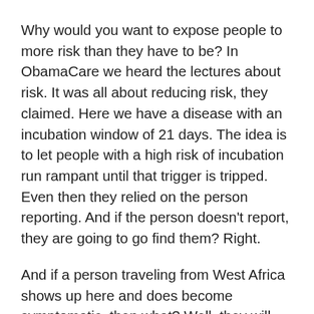Why would you want to expose people to more risk than they have to be? In ObamaCare we heard the lectures about risk. It was all about reducing risk, they claimed. Here we have a disease with an incubation window of 21 days. The idea is to let people with a high risk of incubation run rampant until that trigger is tripped. Even then they relied on the person reporting. And if the person doesn't report, they are going to go find them? Right.
And if a person traveling from West Africa shows up here and does become symptomatic, then what? Well, they will shuttle them off to medical treatment of course. Does that not make the case for them coming here, especially if they know they've been infected? Then leave it to us to give them the best supportive care they could get in the world.
Meanwhile, we the people are put at risk so they can